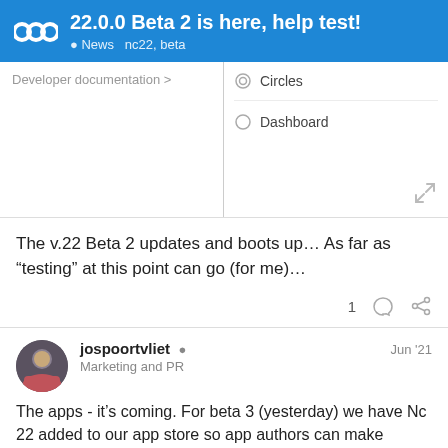22.0.0 Beta 2 is here, help test! • News  nc22, beta
[Figure (screenshot): Screenshot of a UI showing two panels: left panel with 'Developer documentation >' link, right panel with Circles and Dashboard list items with circle icons. An expand icon at bottom right.]
The v.22 Beta 2 updates and boots up... As far as “testing” at this point can go (for me)...
jospoortvliet ● Marketing and PR  Jun '21
The apps - it’s coming. For beta 3 (yesterday) we have Nc 22 added to our app store so app authors can make releases. I